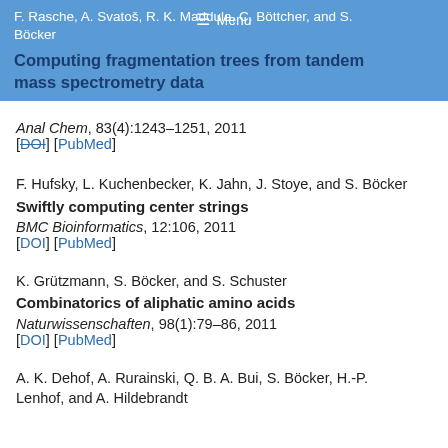F. Rasche, A. Svatoš, R. K. Maddula, C. Böttcher, and S. Böcker
Computing fragmentation trees from tandem mass spectrometry data
Anal Chem, 83(4):1243–1251, 2011
[DOI] [PubMed]
F. Hufsky, L. Kuchenbecker, K. Jahn, J. Stoye, and S. Böcker
Swiftly computing center strings
BMC Bioinformatics, 12:106, 2011
[DOI] [PubMed]
K. Grützmann, S. Böcker, and S. Schuster
Combinatorics of aliphatic amino acids
Naturwissenschaften, 98(1):79–86, 2011
[DOI] [PubMed]
A. K. Dehof, A. Rurainski, Q. B. A. Bui, S. Böcker, H.-P. Lenhof, and A. Hildebrandt